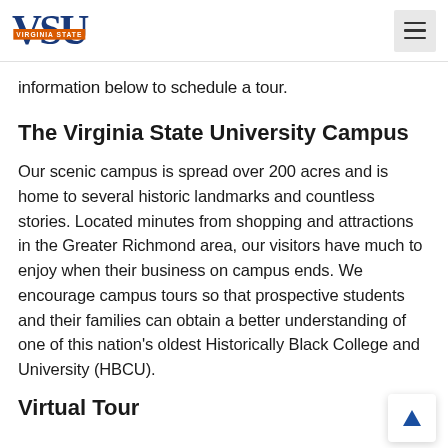Virginia State University logo and navigation menu
information below to schedule a tour.
The Virginia State University Campus
Our scenic campus is spread over 200 acres and is home to several historic landmarks and countless stories. Located minutes from shopping and attractions in the Greater Richmond area, our visitors have much to enjoy when their business on campus ends. We encourage campus tours so that prospective students and their families can obtain a better understanding of one of this nation's oldest Historically Black College and University (HBCU).
Virtual Tour